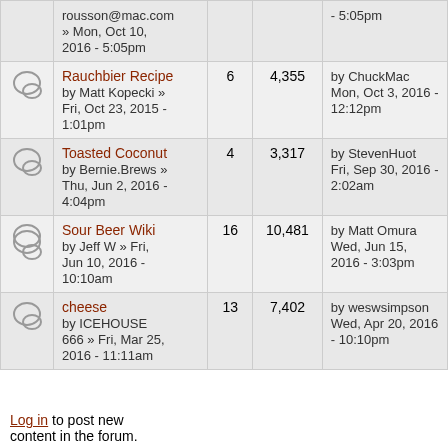|  | Topic | Replies | Views | Last post |
| --- | --- | --- | --- | --- |
|  | rousson@mac.com
» Mon, Oct 10, 2016 - 5:05pm |  |  | - 5:05pm |
|  | Rauchbier Recipe
by Matt Kopecki » Fri, Oct 23, 2015 - 1:01pm | 6 | 4,355 | by ChuckMac
Mon, Oct 3, 2016 - 12:12pm |
|  | Toasted Coconut
by Bernie.Brews » Thu, Jun 2, 2016 - 4:04pm | 4 | 3,317 | by StevenHuot
Fri, Sep 30, 2016 - 2:02am |
|  | Sour Beer Wiki
by Jeff W » Fri, Jun 10, 2016 - 10:10am | 16 | 10,481 | by Matt Omura
Wed, Jun 15, 2016 - 3:03pm |
|  | cheese
by ICEHOUSE 666 » Fri, Mar 25, 2016 - 11:11am | 13 | 7,402 | by weswsimpson
Wed, Apr 20, 2016 - 10:10pm |
Log in to post new content in the forum.